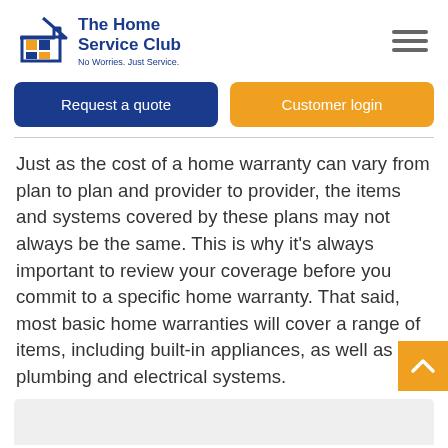[Figure (logo): The Home Service Club logo with house icon and colored squares, blue text reading 'The Home Service Club', tagline 'No Worries. Just Service.']
Request a quote
Customer login
Just as the cost of a home warranty can vary from plan to plan and provider to provider, the items and systems covered by these plans may not always be the same. This is why it's always important to review your coverage before you commit to a specific home warranty. That said, most basic home warranties will cover a range of items, including built-in appliances, as well as plumbing and electrical systems.